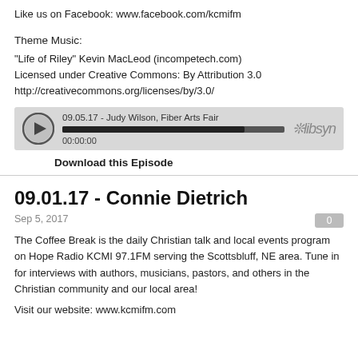Like us on Facebook: www.facebook.com/kcmifm
Theme Music:
"Life of Riley" Kevin MacLeod (incompetech.com)
Licensed under Creative Commons: By Attribution 3.0
http://creativecommons.org/licenses/by/3.0/
[Figure (other): Libsyn audio player showing episode '09.05.17 - Judy Wilson, Fiber Arts Fair' with play button, progress bar, and timestamp 00:00:00]
Download this Episode
09.01.17 - Connie Dietrich
Sep 5, 2017
The Coffee Break is the daily Christian talk and local events program on Hope Radio KCMI 97.1FM serving the Scottsbluff, NE area. Tune in for interviews with authors, musicians, pastors, and others in the Christian community and our local area!
Visit our website: www.kcmifm.com